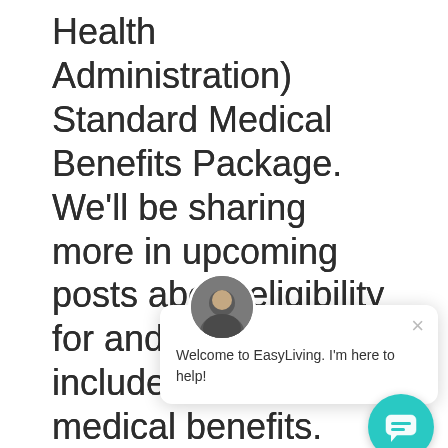Health Administration) Standard Medical Benefits Package. We'll be sharing more in upcoming posts about eligibility for and services included with VA medical benefits. Many veterans are surprised to learn about the benefits they could be receiving. Make sure to check our blog for regular updates (or follow us on Facebook for our latest posts)!

All veterans enrolled in the
[Figure (screenshot): EasyLiving chat widget overlay showing a male avatar photo, a close (×) button, and a chat bubble with text 'Welcome to EasyLiving. I'm here to help!' along with a teal circular chat button at the bottom right.]